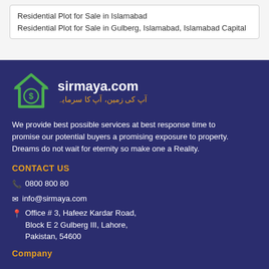Residential Plot for Sale in Islamabad
Residential Plot for Sale in Gulberg, Islamabad, Islamabad Capital
[Figure (logo): Sirmaya.com logo with green house icon containing a dollar sign, white bold text 'sirmaya.com', and orange Urdu text below]
We provide best possible services at best response time to promise our potential buyers a promising exposure to property. Dreams do not wait for eternity so make one a Reality.
CONTACT US
📞 0800 800 80
✉ info@sirmaya.com
📍 Office # 3, Hafeez Kardar Road, Block E 2 Gulberg III, Lahore, Pakistan, 54600
Company